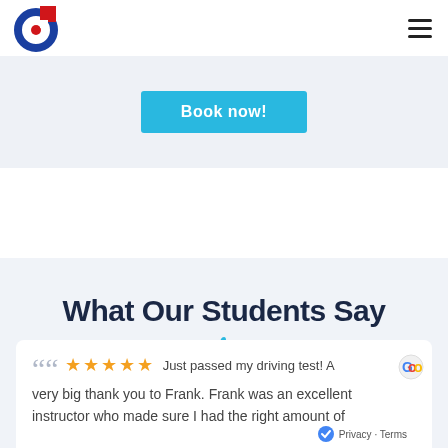[Figure (logo): Circular logo with blue ring, red square top-right, red dot center]
[Figure (other): Hamburger menu icon, three horizontal lines]
[Figure (other): Cyan/blue 'Book now!' button on light grey banner]
What Our Students Say
[Figure (other): Thumbs-up emoji icon in blue/cyan]
““ ★★★★★ Just passed my driving test! A very big thank you to Frank. Frank was an excellent instructor who made sure I had the right amount of